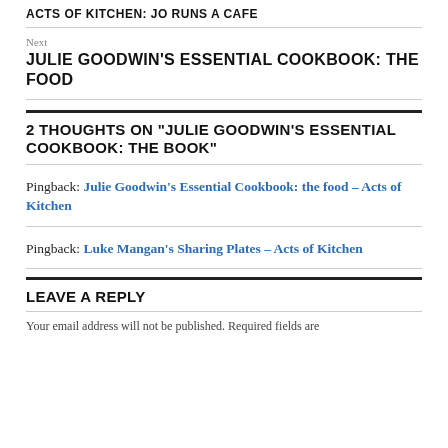ACTS OF KITCHEN: JO RUNS A CAFE
Next
JULIE GOODWIN'S ESSENTIAL COOKBOOK: THE FOOD
2 THOUGHTS ON “JULIE GOODWIN’S ESSENTIAL COOKBOOK: THE BOOK”
Pingback: Julie Goodwin’s Essential Cookbook: the food – Acts of Kitchen
Pingback: Luke Mangan’s Sharing Plates – Acts of Kitchen
LEAVE A REPLY
Your email address will not be published. Required fields are